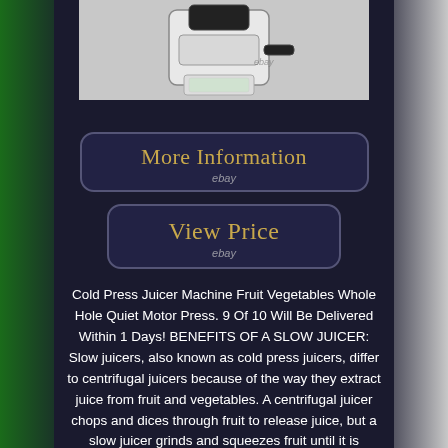[Figure (photo): Cold press juicer machine product photo in black and white/silver color, shown on a light gray background with an eBay watermark]
[Figure (infographic): Button graphic with rounded rectangle border reading 'More Information' with 'ebay' watermark below in dark navy background]
[Figure (infographic): Button graphic with rounded rectangle border reading 'View Price' with 'ebay' watermark below in dark navy background]
Cold Press Juicer Machine Fruit Vegetables Whole Hole Quiet Motor Press. 9 Of 10 Will Be Delivered Within 1 Days! BENEFITS OF A SLOW JUICER: Slow juicers, also known as cold press juicers, differ to centrifugal juicers because of the way they extract juice from fruit and vegetables. A centrifugal juicer chops and dices through fruit to release juice, but a slow juicer grinds and squeezes fruit until it is crushed and all the juice has been extracted.